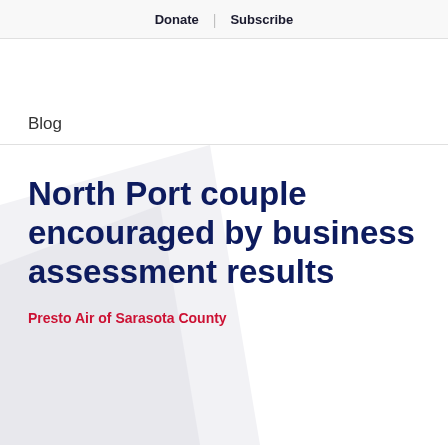Donate | Subscribe
Blog
North Port couple encouraged by business assessment results
Presto Air of Sarasota County